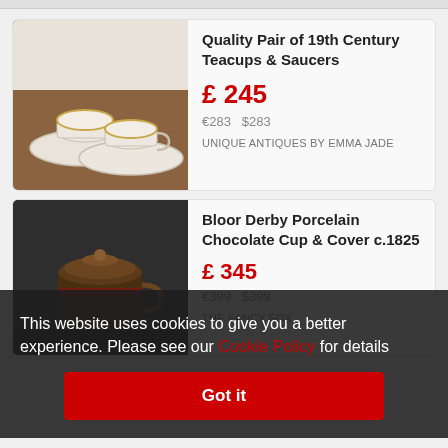[Figure (photo): Photo of two white antique teacups and saucers on a brown wooden surface]
Quality Pair of 19th Century Teacups & Saucers
£ 245
€283   $283
UNIQUE ANTIQUES BY EMMA JADE
[Figure (photo): Photo of a Bloor Derby porcelain chocolate cup on dark background]
Bloor Derby Porcelain Chocolate Cup & Cover c.1825
£ 345
€399   $399
THE FANCY FOX
This website uses cookies to give you a better experience. Please see our Cookie Policy for details